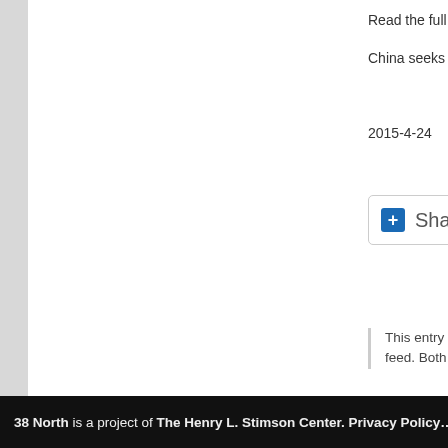Read the full story here:
China seeks N. Korea’s cooperation in Silk Road initia…
Yonhap
2015-4-24
[Figure (other): Share / Save button with Facebook, Twitter, and upload icons]
This entry was posted on Friday, April 24th, 2015 at 9:26 … International trade. You can follow any responses to this … feed. Both comments and pings are currently closed.
Comments are closed.
North Korean Economy Watch is proudly power…
Entries (RSS) and Comments (RS…
38 North is a project of The Henry L. Stimson Center. Privacy Policy…